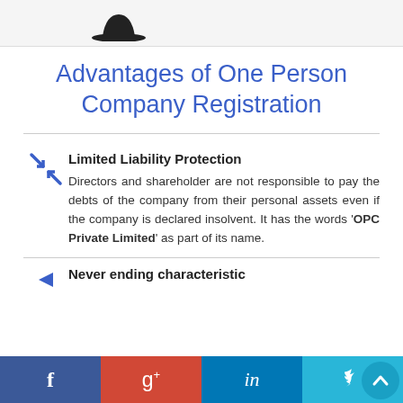[Figure (logo): Black silhouette hat/logo shape in page header bar]
Advantages of One Person Company Registration
Limited Liability Protection
Directors and shareholder are not responsible to pay the debts of the company from their personal assets even if the company is declared insolvent. It has the words 'OPC Private Limited' as part of its name.
Never ending characteristic
f  g+  in  Twitter social sharing bar